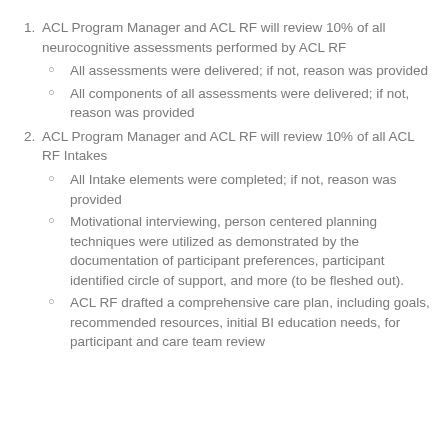ACL Program Manager and ACL RF will review 10% of all neurocognitive assessments performed by ACL RF
All assessments were delivered; if not, reason was provided
All components of all assessments were delivered; if not, reason was provided
ACL Program Manager and ACL RF will review 10% of all ACL RF Intakes
All Intake elements were completed; if not, reason was provided
Motivational interviewing, person centered planning techniques were utilized as demonstrated by the documentation of participant preferences, participant identified circle of support, and more (to be fleshed out).
ACL RF drafted a comprehensive care plan, including goals, recommended resources, initial BI education needs, for participant and care team review